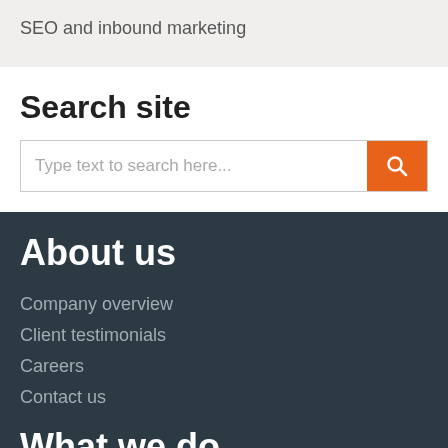SEO and inbound marketing
Search site
Type text to search here...
About us
Company overview
Client testimonials
Careers
Contact us
What we do